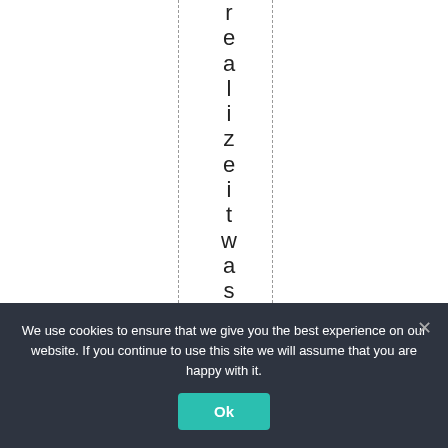realizeitwasjtag
We use cookies to ensure that we give you the best experience on our website. If you continue to use this site we will assume that you are happy with it.